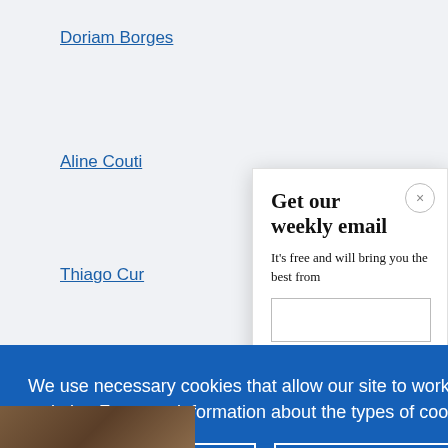Doriam Borges
Aline Couti
Thiago Cur
Get our weekly email
It's free and will bring you the best from
We use necessary cookies that allow our site to work. We also set optional cookies that help us improve our website. For more information about the types of cookies we use. READ OUR COOKIES POLICY HERE
COOKIE SETTINGS
ALLOW ALL COOKIES
data.